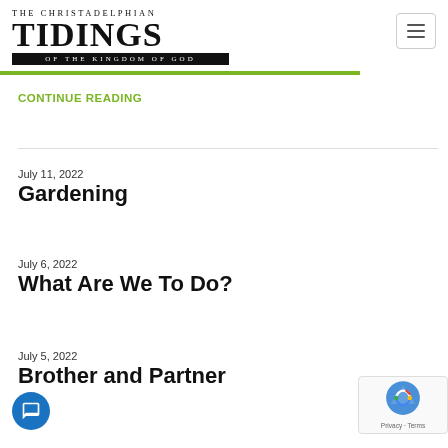THE CHRISTADELPHIAN TIDINGS OF THE KINGDOM OF GOD
CONTINUE READING
Gardening
July 11, 2022
What Are We To Do?
July 6, 2022
Brother and Partner
July 5, 2022